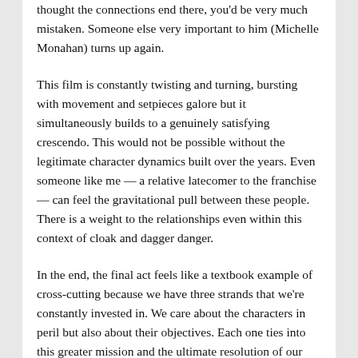thought the connections end there, you'd be very much mistaken. Someone else very important to him (Michelle Monahan) turns up again.
This film is constantly twisting and turning, bursting with movement and setpieces galore but it simultaneously builds to a genuinely satisfying crescendo. This would not be possible without the legitimate character dynamics built over the years. Even someone like me — a relative latecomer to the franchise — can feel the gravitational pull between these people. There is a weight to the relationships even within this context of cloak and dagger danger.
In the end, the final act feels like a textbook example of cross-cutting because we have three strands that we're constantly invested in. We care about the characters in peril but also about their objectives. Each one ties into this greater mission and the ultimate resolution of our story.
Disarming a bomb is a staple and alone it would seem trite. It's reinforced by the other parties tracking down